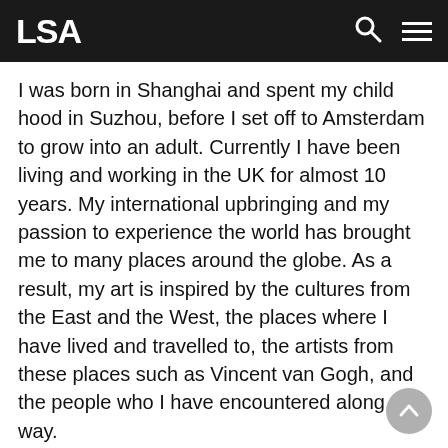LSA
I was born in Shanghai and spent my child hood in Suzhou, before I set off to Amsterdam to grow into an adult. Currently I have been living and working in the UK for almost 10 years. My international upbringing and my passion to experience the world has brought me to many places around the globe. As a result, my art is inspired by the cultures from the East and the West, the places where I have lived and travelled to, the artists from these places such as Vincent van Gogh, and the people who I have encountered along the way.
I have a wide interest in the subject matter as well as the styles and materials I use. However I am particularly interested in peonies in Chinese court style and rain in